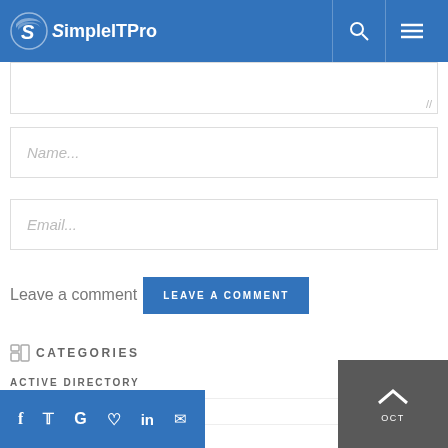SimpleITPro
Name...
Email...
Leave a comment
LEAVE A COMMENT
CATEGORIES
ACTIVE DIRECTORY 51
AMAZON AWS 9